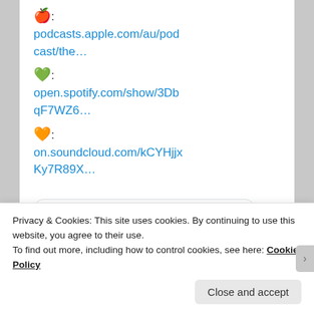🍎: podcasts.apple.com/au/podcast/the…
💚: open.spotify.com/show/3DbqF7WZ6…
🧡: on.soundcloud.com/kCYHjjxKy7R89X…
[Figure (screenshot): Embedded tweet card with profile icon showing 'The... @... · Aug 19' and text '🙌 This weekend's #theedusalon' with a profile image of a building]
Privacy & Cookies: This site uses cookies. By continuing to use this website, you agree to their use.
To find out more, including how to control cookies, see here: Cookie Policy